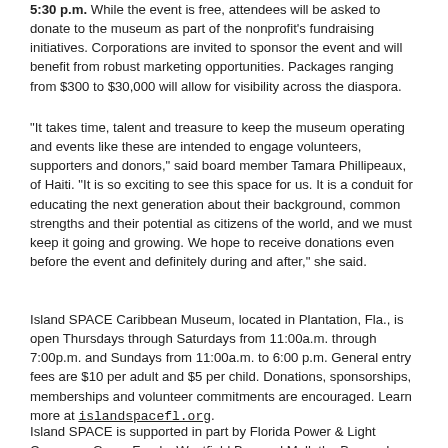5:30 p.m. While the event is free, attendees will be asked to donate to the museum as part of the nonprofit's fundraising initiatives. Corporations are invited to sponsor the event and will benefit from robust marketing opportunities. Packages ranging from $300 to $30,000 will allow for visibility across the diaspora.
“It takes time, talent and treasure to keep the museum operating and events like these are intended to engage volunteers, supporters and donors,” said board member Tamara Phillipeaux, of Haiti. “It is so exciting to see this space for us. It is a conduit for educating the next generation about their background, common strengths and their potential as citizens of the world, and we must keep it going and growing. We hope to receive donations even before the event and definitely during and after,” she said.
Island SPACE Caribbean Museum, located in Plantation, Fla., is open Thursdays through Saturdays from 11:00a.m. through 7:00p.m. and Sundays from 11:00a.m. to 6:00 p.m. General entry fees are $10 per adult and $5 per child. Donations, sponsorships, memberships and volunteer commitments are encouraged. Learn more at islandspacefl.org.
Island SPACE is supported in part by Florida Power & Light Company, Grace Foods, Westfield Broward Mall, the Broward County Cultural